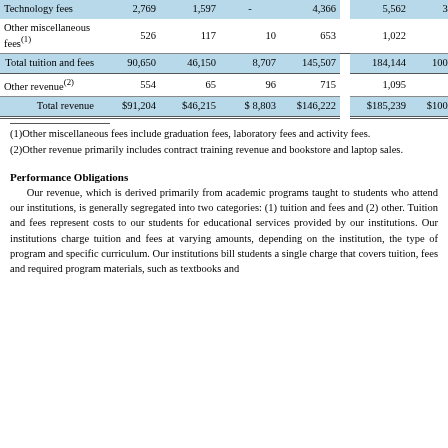|  | Col1 | Col2 | Col3 | Col4 | Col5 | Col6 |
| --- | --- | --- | --- | --- | --- | --- |
| Technology fees | 2,769 | 1,597 | - | 4,366 | 5,562 | 3,455 |
| Other miscellaneous fees(1) | 526 | 117 | 10 | 653 | 1,022 | 205 |
| Total tuition and fees | 90,650 | 46,150 | 8,707 | 145,507 | 184,144 | 100,315 |
| Other revenue(2) | 554 | 65 | 96 | 715 | 1,095 | 153 |
| Total revenue | $91,204 | $46,215 | $ 8,803 | $146,222 | $185,239 | $100,468 |
(1)Other miscellaneous fees include graduation fees, laboratory fees and activity fees.
(2)Other revenue primarily includes contract training revenue and bookstore and laptop sales.
Performance Obligations
Our revenue, which is derived primarily from academic programs taught to students who attend our institutions, is generally segregated into two categories: (1) tuition and fees and (2) other. Tuition and fees represent costs to our students for educational services provided by our institutions. Our institutions charge tuition and fees at varying amounts, depending on the institution, the type of program and specific curriculum. Our institutions bill students a single charge that covers tuition, fees and required program materials, such as textbooks and